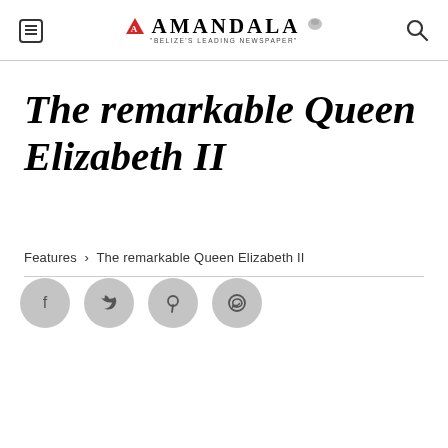Amandala — Belize's Leading Newspaper
The remarkable Queen Elizabeth II
Features › The remarkable Queen Elizabeth II
[Figure (other): Social sharing buttons: Facebook, Twitter, Pinterest, WhatsApp]